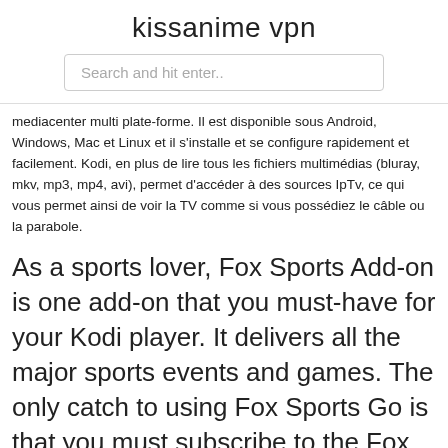kissanime vpn
Search and hit enter..
mediacenter multi plate-forme. Il est disponible sous Android, Windows, Mac et Linux et il s'installe et se configure rapidement et facilement. Kodi, en plus de lire tous les fichiers multimédias (bluray, mkv, mp3, mp4, avi), permet d'accéder à des sources IpTv, ce qui vous permet ainsi de voir la TV comme si vous possédiez le câble ou la parabole.
As a sports lover, Fox Sports Add-on is one add-on that you must-have for your Kodi player. It delivers all the major sports events and games. The only catch to using Fox Sports Go is that you must subscribe to the Fox Sports channel. Other than that, this is one